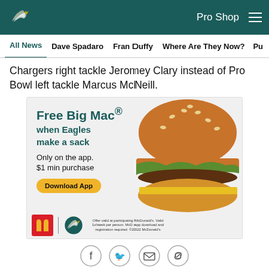Pro Shop
All News  Dave Spadaro  Fran Duffy  Where Are They Now?  Pu
Chargers right tackle Jeromey Clary instead of Pro Bowl left tackle Marcus McNeill.
[Figure (infographic): McDonald's advertisement: Free Big Mac when Eagles make a sack. Only on the app. $1 min purchase. Download App button. McDonald's and Eagles logos. Offer valid at participating McDonald's. Valid 1x/week per person. McD app download and registration required. ©2022 McDonald's. Image of a Big Mac burger on the right side.]
Offer valid at participating McDonald's. Valid 1x/week per person. McD app download and registration required. ©2022 McDonald's